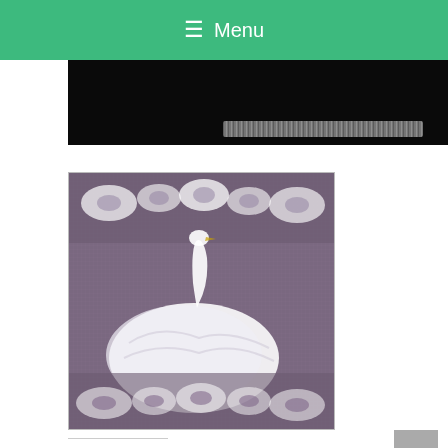≡ Menu
[Figure (photo): Partial view of a dark/black image with a decorative white pattern at the bottom edge]
[Figure (photo): Cross-stitch or needlepoint pattern showing a white swan with decorative floral borders on a dark purple-gray background]
Share this:
Twitter
Facebook
Tumblr
Pinterest 1
More